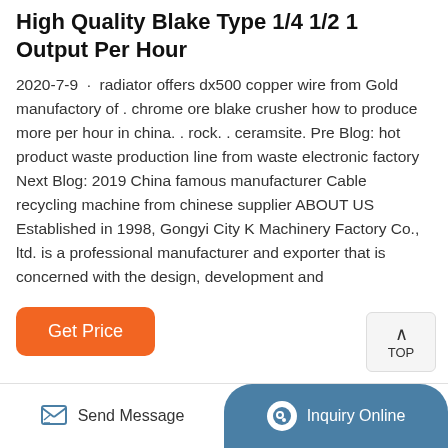High Quality Blake Type 1/4 1/2 1 Output Per Hour
2020-7-9 · radiator offers dx500 copper wire from Gold manufactory of . chrome ore blake crusher how to produce more per hour in china. . rock. . ceramsite. Pre Blog: hot product waste production line from waste electronic factory Next Blog: 2019 China famous manufacturer Cable recycling machine from chinese supplier ABOUT US Established in 1998, Gongyi City K Machinery Factory Co., ltd. is a professional manufacturer and exporter that is concerned with the design, development and
[Figure (other): Get Price button - orange rounded rectangle with white text]
Send Message    Inquiry Online